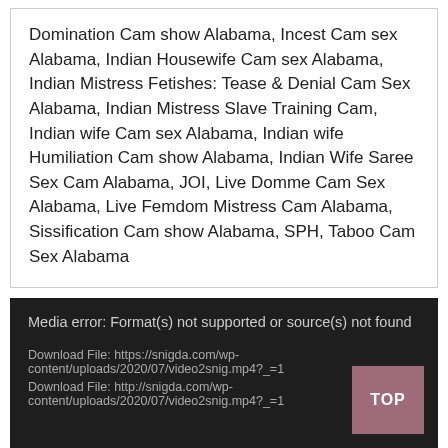Domination Cam show Alabama, Incest Cam sex Alabama, Indian Housewife Cam sex Alabama, Indian Mistress Fetishes: Tease & Denial Cam Sex Alabama, Indian Mistress Slave Training Cam, Indian wife Cam sex Alabama, Indian wife Humiliation Cam show Alabama, Indian Wife Saree Sex Cam Alabama, JOI, Live Domme Cam Sex Alabama, Live Femdom Mistress Cam Alabama, Sissification Cam show Alabama, SPH, Taboo Cam Sex Alabama
Media error: Format(s) not supported or source(s) not found
Download File: https://snigda.com/wp-content/uploads/2020/07/video2snig.mp4?_=1
Download File: http://snigda.com/wp-content/uploads/2020/07/video2snig.mp4?_=1
TOP